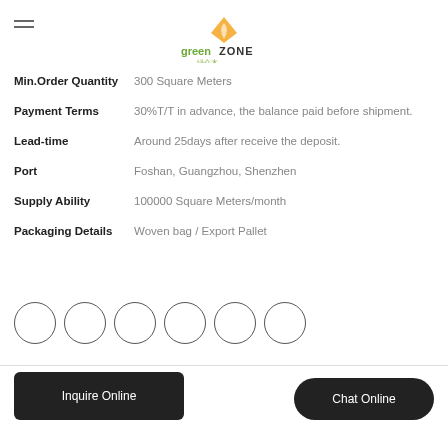[Figure (logo): GreenZone logo with orange diamond/leaf icon, 'green' in green text, 'ZONE' in dark text, and Chinese characters below]
| Min.Order Quantity | 300 Square Meters |
| Payment Terms | 30%T/T in advance, the balance paid before shipment. |
| Lead-time | Around 25days after receive the deposit. |
| Port | Foshan, Guangzhou, Shenzhen |
| Supply Ability | 100000 Square Meters/month |
| Packaging Details | Woven bag / Export Pallet |
[Figure (other): Six empty circles in a row representing social media or sharing icons]
Inquire Online
Chat Online